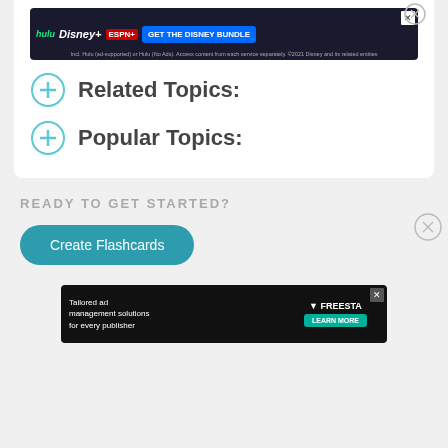[Figure (screenshot): Disney Bundle advertisement banner with Hulu, Disney+, ESPN+ logos and GET THE DISNEY BUNDLE button]
Related Topics:
Popular Topics:
READY TO GET STARTED?
Create Flashcards
[Figure (screenshot): Freestar tailored ad management solutions advertisement banner]